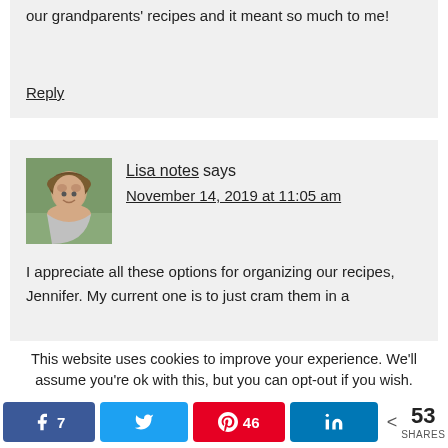our grandparents' recipes and it meant so much to me!
Reply
[Figure (photo): Avatar photo of Lisa notes - a woman with short brown hair smiling]
Lisa notes says
November 14, 2019 at 11:05 am
I appreciate all these options for organizing our recipes, Jennifer. My current one is to just cram them in a
This website uses cookies to improve your experience. We'll assume you're ok with this, but you can opt-out if you wish.
7  [Twitter]  46  [LinkedIn]  < 53 SHARES